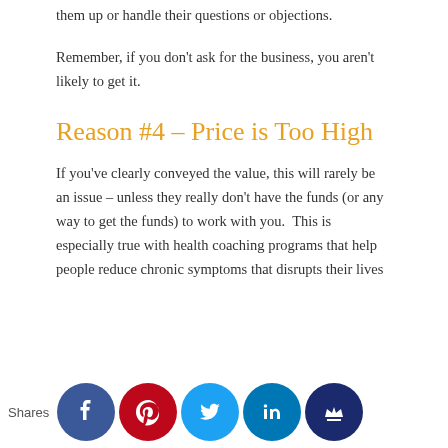them up or handle their questions or objections.
Remember, if you don't ask for the business, you aren't likely to get it.
Reason #4 – Price is Too High
If you've clearly conveyed the value, this will rarely be an issue – unless they really don't have the funds (or any way to get the funds) to work with you.  This is especially true with health coaching programs that help people reduce chronic symptoms that disrupts their lives
Shares [social icons: Facebook, Pinterest, Twitter, LinkedIn, Crown]